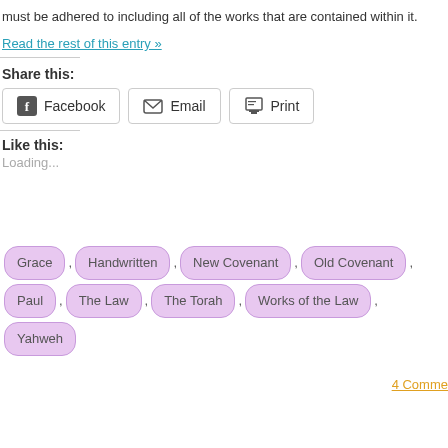must be adhered to including all of the works that are contained within it.
Read the rest of this entry »
Share this:
Facebook  Email  Print
Like this:
Loading...
Grace , Handwritten , New Covenant , Old Covenant , Paul , The Law , The Torah , Works of the Law , Yahweh
4 Comme